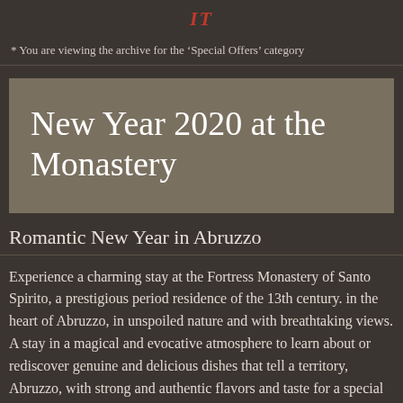IT
* You are viewing the archive for the ‘Special Offers’ category
New Year 2020 at the Monastery
Romantic New Year in Abruzzo
Experience a charming stay at the Fortress Monastery of Santo Spirito, a prestigious period residence of the 13th century. in the heart of Abruzzo, in unspoiled nature and with breathtaking views. A stay in a magical and evocative atmosphere to learn about or rediscover genuine and delicious dishes that tell a territory, Abruzzo, with strong and authentic flavors and taste for a special and elegant